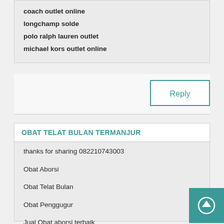coach outlet online
longchamp solde
polo ralph lauren outlet
michael kors outlet online
Reply
OBAT TELAT BULAN TERMANJUR
thanks for sharing 082210743003
Obat Aborsi
Obat Telat Bulan
Obat Penggugur
Jual Obat aborsi terbaik